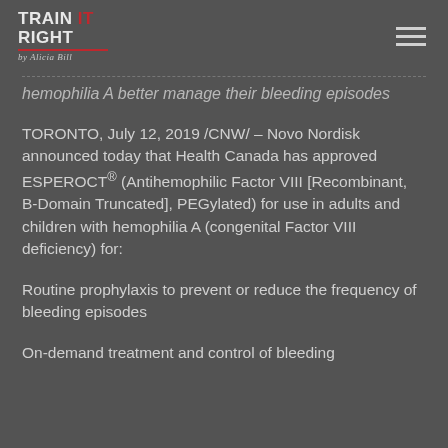Train It Right by Alicia Bill
hemophilia A better manage their bleeding episodes
TORONTO, July 12, 2019 /CNW/ – Novo Nordisk announced today that Health Canada has approved ESPEROCT® (Antihemophilic Factor VIII [Recombinant, B-Domain Truncated], PEGylated) for use in adults and children with hemophilia A (congenital Factor VIII deficiency) for:
Routine prophylaxis to prevent or reduce the frequency of bleeding episodes
On-demand treatment and control of bleeding